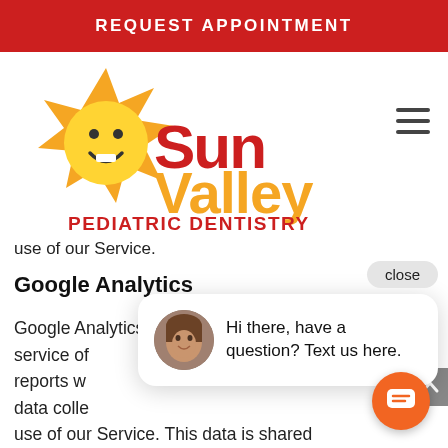REQUEST APPOINTMENT
[Figure (logo): Sun Valley Pediatric Dentistry logo with sun character and red/orange text]
use of our Service.
Google Analytics
Google Analytics is a web analytics service of [partially obscured] reports w[obscured] data colle[obscured] use of our Service. This data is shared with other Google services. Google m[ay] use the collected data to contextualize and personalize the ads of its own
[Figure (screenshot): Chat popup overlay with close button, avatar photo of a woman, and text 'Hi there, have a question? Text us here.' with orange chat bubble button]